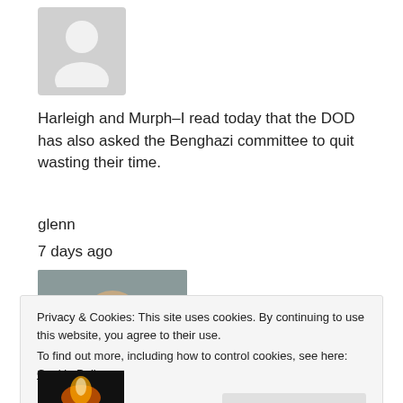[Figure (photo): Gray placeholder avatar silhouette image]
Harleigh and Murph–I read today that the DOD has also asked the Benghazi committee to quit wasting their time.
glenn
7 days ago
[Figure (photo): Photo of a man with gray beard wearing a dark t-shirt that reads 'i'm really excited to be here']
Privacy & Cookies: This site uses cookies. By continuing to use this website, you agree to their use.
To find out more, including how to control cookies, see here: Cookie Policy
[Figure (photo): Bottom partial image showing warm light/fire on dark background]